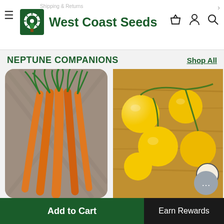Shipping & Returns | West Coast Seeds
NEPTUNE COMPANIONS
Shop All
[Figure (photo): Bunch of carrots with green tops on a grey linen cloth]
Viper
From $3.69
[Figure (photo): Yellow cherry tomatoes on the vine on a wooden cutting board]
Yellow Cab
From $3.49
Add to Cart
Earn Rewards